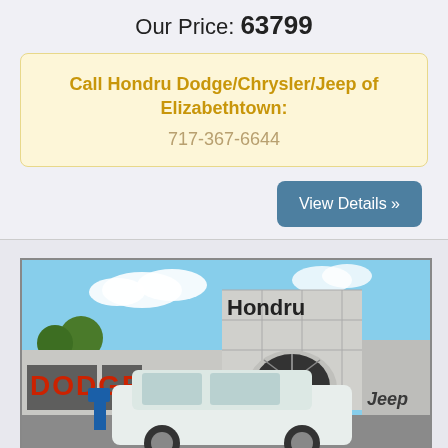Our Price: 63799
Call Hondru Dodge/Chrysler/Jeep of Elizabethtown:
717-367-6644
View Details »
[Figure (photo): Exterior photo of Hondru Dodge/Chrysler/Jeep dealership in Elizabethtown with a white SUV parked in front. The building shows 'Hondru' signage and DODGE and Jeep logos.]